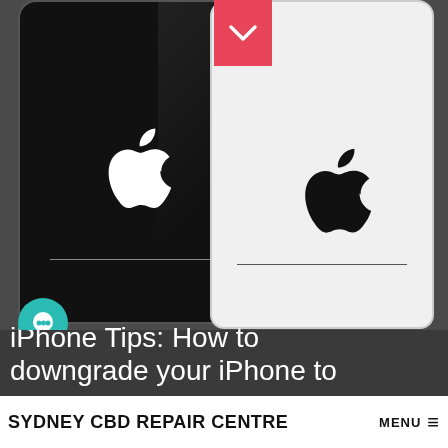[Figure (photo): Two iPhones side by side — one black (left) and one white (right) — both showing the Apple logo and a horizontal line on their backs. A pink/red downward-chevron scroll button appears at the top center. A teal circular chat button is visible at the lower-left of the black iPhone.]
iPhone Tips: How to downgrade your iPhone to...
SYDNEY CBD REPAIR CENTRE  MENU ≡